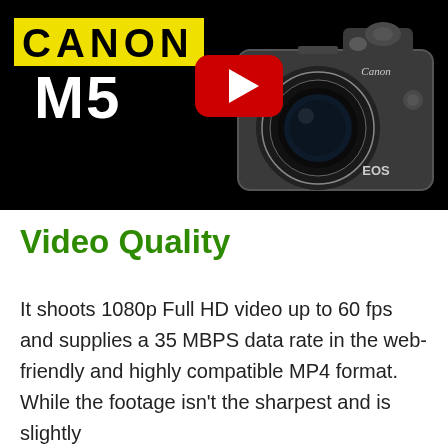[Figure (screenshot): Canon M5 camera YouTube video thumbnail with black background, yellow CANON text label, white M5 text, YouTube play button icon in center, and Canon EOS M5 camera with lens on right side]
Video Quality
It shoots 1080p Full HD video up to 60 fps and supplies a 35 MBPS data rate in the web-friendly and highly compatible MP4 format. While the footage isn't the sharpest and is slightly